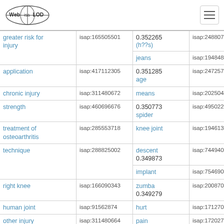Web isa LOD [logo] [hamburger menu]
| term | isap (left) | score / term (right) | isap (right) |
| --- | --- | --- | --- |
| greater risk for injury | isap:165505501 | 0.352265
(h??s) | isap:248807986 |
|  |  | jeans | isap:194848796 |
| application | isap:417112305 | 0.351285
age | isap:247257913 |
| chronic injury | isap:311480672 | means | isap:202504903 |
| strength | isap:460696676 | 0.350773
spider | isap:495022788 |
| treatment of osteoarthritis | isap:285553718 | knee joint | isap:194613497 |
| technique | isap:288825002 | descent
0.349873 | isap:74494033 |
|  |  | implant | isap:75469018 |
| right knee | isap:166090343 | zumba
0.349279 | isap:200870464 |
| human joint | isap:91562874 | hurt | isap:171270984 |
| other injury | isap:311480664 | pain
0.348088 | isap:172027463 |
| large weight bearing joint | isap:91562952 |  |  |